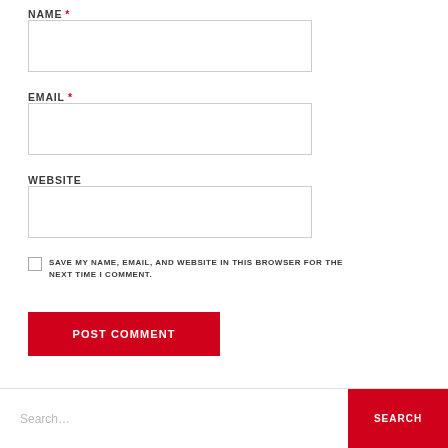NAME *
[Figure (other): Empty text input field for NAME]
EMAIL *
[Figure (other): Empty text input field for EMAIL]
WEBSITE
[Figure (other): Empty text input field for WEBSITE]
SAVE MY NAME, EMAIL, AND WEBSITE IN THIS BROWSER FOR THE NEXT TIME I COMMENT.
POST COMMENT
Search...
SEARCH